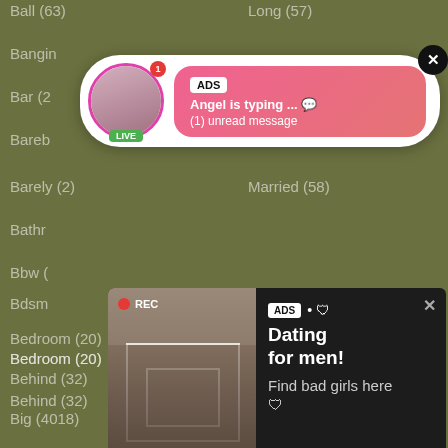Ball (63)
Long (57)
Bangin...
Bar (2...
Bareb...
Barely (2)
Married (58)
Bathr...
Bbw (...
Bdsm...
Beac...
Bear...
Beau...
Bedroom (20)
Messy (7)
Behind (32)
Mexican (23)
Big (4018)
Midget (11)
Bikini (70)
Milf (2727)
Bisexual (169)
Military (4)
Bitch (116)
Milk (67)
Bizarre (0)
Missionary (37)
[Figure (screenshot): ADS notification popup: Angel is typing ... (1) unread message, with LIVE avatar]
[Figure (screenshot): ADS Dating for men! Find bad girls here - dark panel with photo of woman taking selfie]